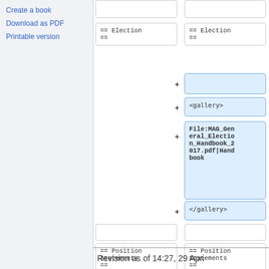Create a book
Download as PDF
Printable version
[Figure (screenshot): Wikipedia diff view showing two columns of wikitext. Left column shows '== Election ==' box and '== Position Statements ==' box. Right column shows '== Election ==' box, followed by added (blue highlight) boxes: empty box with +, '<gallery>' box with +, 'File:MAG_General_Election_Handbook_2017.pdf|Handbook' box with +, '</gallery>' box with +, then empty box, and '== Position Statements ==' box.]
Revision as of 14:27, 29 April